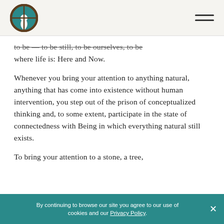[Logo] [Hamburger menu]
to be — to be still, to be ourselves, to be where life is: Here and Now.
Whenever you bring your attention to anything natural, anything that has come into existence without human intervention, you step out of the prison of conceptualized thinking and, to some extent, participate in the state of connectedness with Being in which everything natural still exists.
To bring your attention to a stone, a tree,
By continuing to browse our site you agree to our use of cookies and our Privacy Policy.